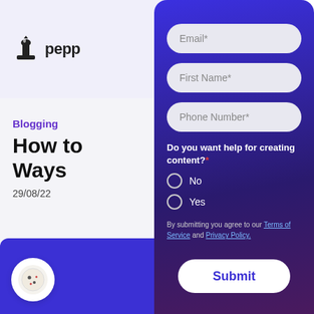[Figure (screenshot): Website header with pepper brand logo (ink bottle icon) and text 'pepp' partially visible]
Blogging
How to Ways
29/08/22
[Figure (screenshot): Web form modal on dark blue/purple gradient background with fields: Email*, First Name*, Phone Number*, radio buttons for 'Do you want help for creating content?* No/Yes', terms of service text, and Submit button]